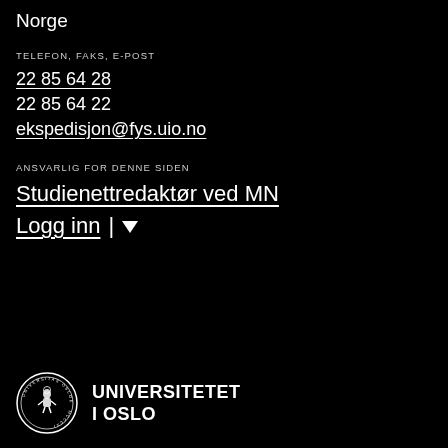Norge
TELEFON, FAKS, E-POST
22 85 64 28
22 85 64 22
ekspedisjon@fys.uio.no
ANSVARLIG FOR DENNE SIDEN
Studienettredaktør ved MN
Logg inn
[Figure (logo): Universitetet i Oslo logo with circular seal and text UNIVERSITETET I OSLO]